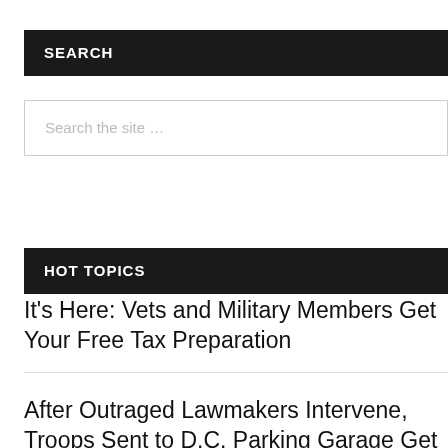SEARCH
Search the site …
HOT TOPICS
It's Here: Vets and Military Members Get Your Free Tax Preparation
After Outraged Lawmakers Intervene, Troops Sent to D.C. Parking Garage Get